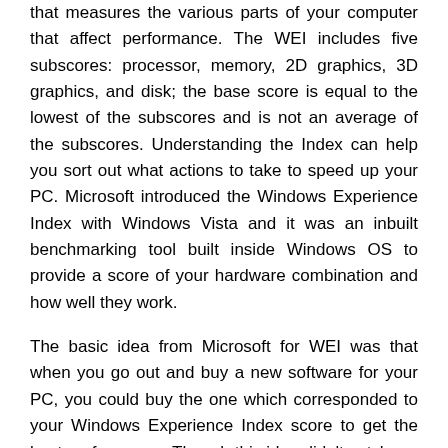that measures the various parts of your computer that affect performance. The WEI includes five subscores: processor, memory, 2D graphics, 3D graphics, and disk; the base score is equal to the lowest of the subscores and is not an average of the subscores. Understanding the Index can help you sort out what actions to take to speed up your PC. Microsoft introduced the Windows Experience Index with Windows Vista and it was an inbuilt benchmarking tool built inside Windows OS to provide a score of your hardware combination and how well they work.
The basic idea from Microsoft for WEI was that when you go out and buy a new software for your PC, you could buy the one which corresponded to your Windows Experience Index score to get the best performance. Though this idea didn't catch on, people still used WEI scores to compare how well their PC performed. It was also hoped that WEI would serve as a universal, easy-to-understand way for